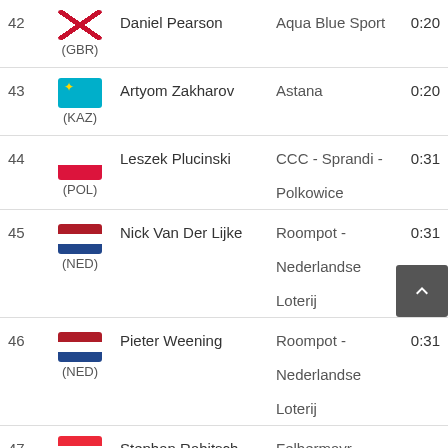| Rank | Rider | Team | Time |
| --- | --- | --- | --- |
| 42 | Daniel Pearson (GBR) | Aqua Blue Sport | 0:20 |
| 43 | Artyom Zakharov (KAZ) | Astana | 0:20 |
| 44 | Leszek Plucinski (POL) | CCC - Sprandi - Polkowice | 0:31 |
| 45 | Nick Van Der Lijke (NED) | Roompot - Nederlandse Loterij | 0:31 |
| 46 | Pieter Weening (NED) | Roompot - Nederlandse Loterij | 0:31 |
| 47 | Stephan Rabitsch (AUT) | Felbermayr - | 0:3? |